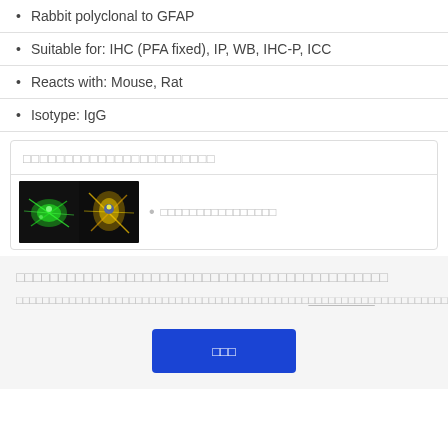Rabbit polyclonal to GFAP
Suitable for: IHC (PFA fixed), IP, WB, IHC-P, ICC
Reacts with: Mouse, Rat
Isotype: IgG
[Figure (screenshot): Card with redacted title text and fluorescence microscopy images showing green and yellow/orange stained cells on black background, with a redacted bullet point]
[Redacted title text block]
[Redacted body text with underlined link portion]
[Redacted button label text]